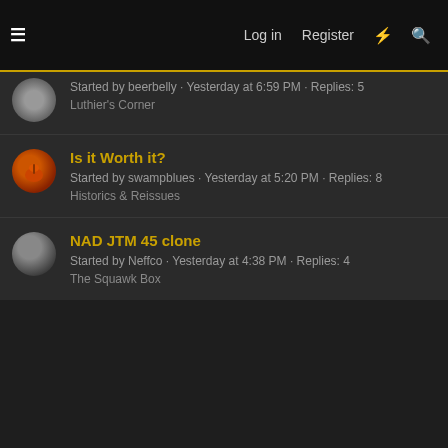≡   Log in   Register   ⚡   🔍
Started by beerbelly · Yesterday at 6:59 PM · Replies: 5
Luthier's Corner
Is it Worth it?
Started by swampblues · Yesterday at 5:20 PM · Replies: 8
Historics & Reissues
NAD JTM 45 clone
Started by Neffco · Yesterday at 4:38 PM · Replies: 4
The Squawk Box